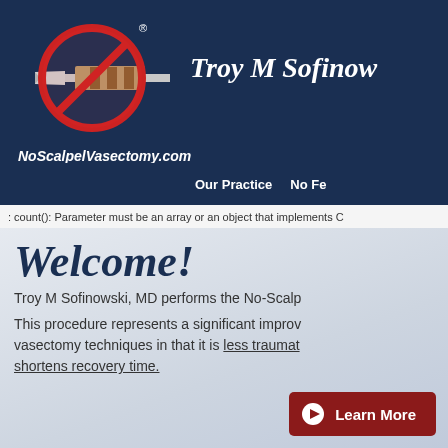[Figure (logo): No-scalpel vasectomy logo: a scalpel with a red circle-and-slash prohibition symbol over it, on dark navy background]
Troy M Sofinow
NoScalpelVasectomy.com    Our Practice    No Fe
: count(): Parameter must be an array or an object that implements C
Welcome!
Troy M Sofinowski, MD performs the No-Scalp
This procedure represents a significant improv vasectomy techniques in that it is less traumat shortens recovery time.
Learn More